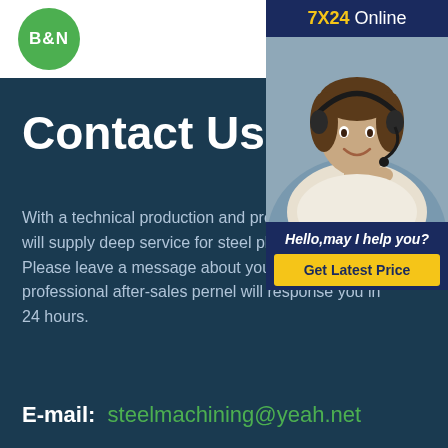[Figure (logo): B&N logo — green circle with white bold text B&N]
[Figure (illustration): Hamburger menu icon (three horizontal lines)]
Contact Us
[Figure (infographic): Chat widget panel: '7X24 Online' header, photo of customer service woman with headset, 'Hello,may I help you?' message, 'Get Latest Price' button]
With a technical production and process will supply deep service for steel plates. Please leave a message about you rec professional after-sales pernel will response you in 24 hours.
E-mail:  steelmachining@yeah.net